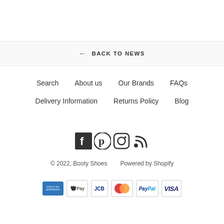← BACK TO NEWS
Search
About us
Our Brands
FAQs
Delivery Information
Returns Policy
Blog
[Figure (illustration): Social media icons: Facebook, Pinterest, Instagram, RSS feed]
© 2022, Booty Shoes   Powered by Shopify
[Figure (illustration): Payment method icons: American Express, Apple Pay, JCB, Mastercard, PayPal, Visa]